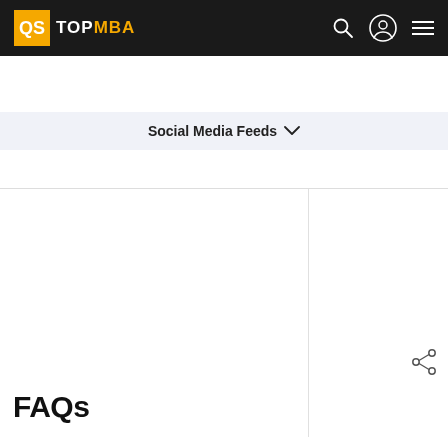QS TOPMBA
Social Media Feeds
[Figure (other): Two-column content area with white background, main column on left and sidebar on right with share icon]
We use cookies to ensure you get the best experience on our website. Cookies Policy GOT IT
FAQs